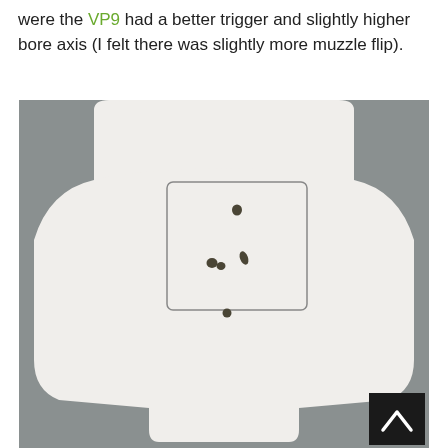were the VP9 had a better trigger and slightly higher bore axis (I felt there was slightly more muzzle flip).
[Figure (photo): Photograph of a paper shooting target (IPSC/IDPA style silhouette shape) on a gray background. The target is white with a rounded rectangular scoring box near the top. Several bullet holes are visible in and near the scoring box, clustered slightly left-center. A scroll-to-top button (dark square with white chevron) appears in the bottom-right corner.]